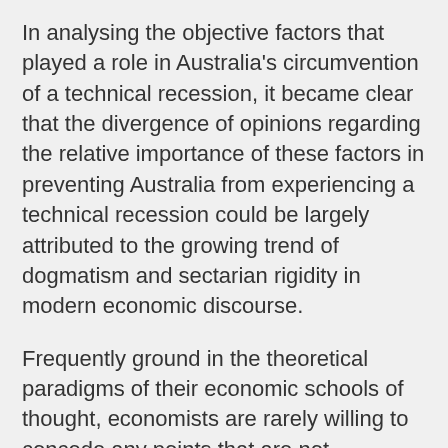In analysing the objective factors that played a role in Australia's circumvention of a technical recession, it became clear that the divergence of opinions regarding the relative importance of these factors in preventing Australia from experiencing a technical recession could be largely attributed to the growing trend of dogmatism and sectarian rigidity in modern economic discourse.
Frequently ground in the theoretical paradigms of their economic schools of thought, economists are rarely willing to concede any points that are not fundamentally in line with the credos espoused by their economic tradition.
The consequence of this is a body of objectivity i...